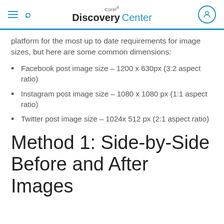Corel Discovery Center
platform for the most up to date requirements for image sizes, but here are some common dimensions:
Facebook post image size – 1200 x 630px (3:2 aspect ratio)
Instagram post image size – 1080 x 1080 px (1:1 aspect ratio)
Twitter post image size – 1024x 512 px (2:1 aspect ratio)
Method 1: Side-by-Side Before and After Images